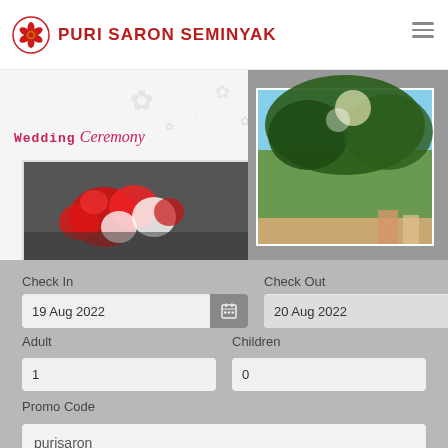[Figure (logo): Puri Saron Seminyak logo with flower icon and red text]
[Figure (photo): Wedding Ceremony section with decorative floral background and red/white flower bouquet photo]
[Figure (photo): Outdoor photo showing tree canopy and sky]
Check In
19 Aug 2022
Check Out
20 Aug 2022
Adult
Children
1
0
Promo Code
purisaron